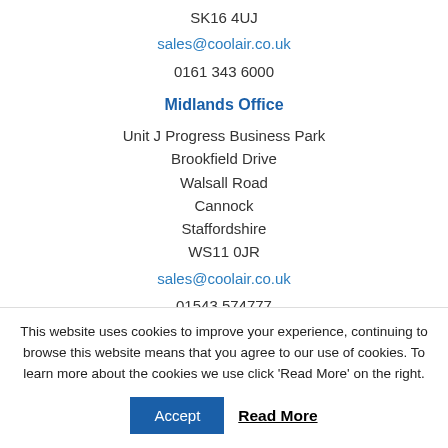SK16 4UJ
sales@coolair.co.uk
0161 343 6000
Midlands Office
Unit J Progress Business Park
Brookfield Drive
Walsall Road
Cannock
Staffordshire
WS11 0JR
sales@coolair.co.uk
01543 574777
Southern Office
Cooks Barn
Turkey Mill
This website uses cookies to improve your experience, continuing to browse this website means that you agree to our use of cookies. To learn more about the cookies we use click 'Read More' on the right.
Accept
Read More